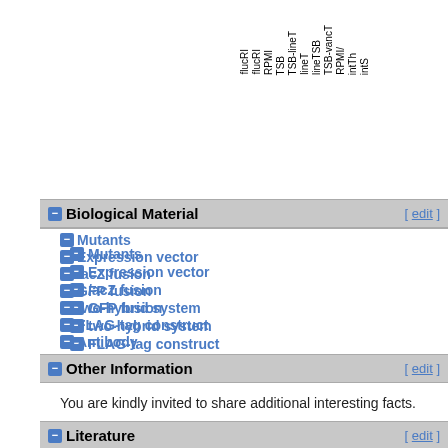[Figure (other): Rotated column header labels: flucRl, flucRl, RPMI, TSB, TSB-lineT, lineT, lineTSB, TSB-vancT, RPMI/, intTh, intS]
Biological Material [edit]
Mutants
Expression vector
/acZ fusion
GFP fusion
two-hybrid system
FLAG-tag construct
Antibody
Other Information [edit]
You are kindly invited to share additional interesting facts.
Literature [edit]
References
1. 1.0 1.1 1.2
Ulrike Möder, Pierre Nicolas, Moran Danko, Jan René Ferré...